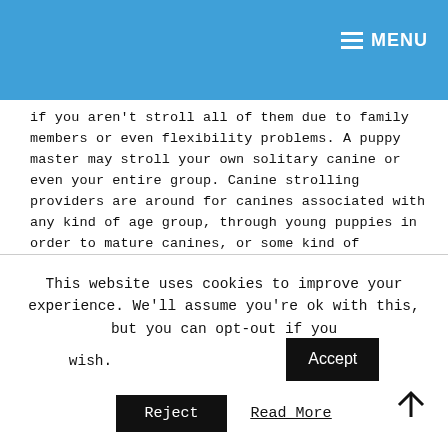MENU
if you aren't stroll all of them due to family members or even flexibility problems. A puppy master may stroll your own solitary canine or even your entire group. Canine strolling providers are around for canines associated with any kind of age group, through young puppies in order to mature canines, or some kind of dimension. No longer be concerned should you have a puppy using a solid character; a lot of canine ramblers focus on strolling big or even intense breeds.
A lot of family pet sitters allow customers understand in advance that every canines strolled is
This website uses cookies to improve your experience. We'll assume you're ok with this, but you can opt-out if you wish.
Accept
Reject
Read More